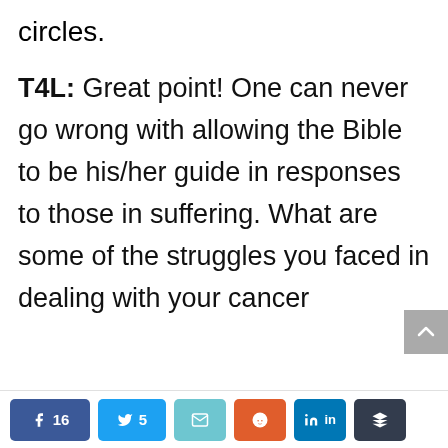circles.
T4L: Great point! One can never go wrong with allowing the Bible to be his/her guide in responses to those in suffering. What are some of the struggles you faced in dealing with your cancer
Share buttons: Facebook 16, Twitter 5, Email, Reddit, LinkedIn, Buffer